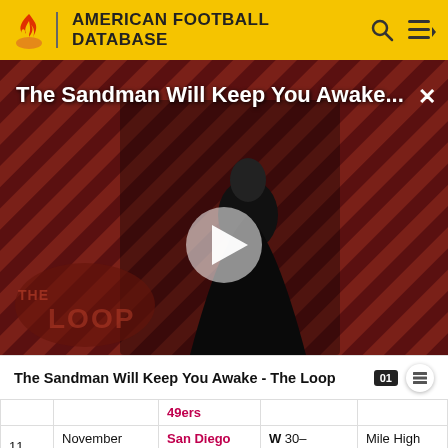AMERICAN FOOTBALL DATABASE
[Figure (screenshot): Video thumbnail for 'The Sandman Will Keep You Awake - The Loop' showing a dark figure in a black costume against a red diagonal striped background with 'THE LOOP' text overlay and a play button in the center]
The Sandman Will Keep You Awake - The Loop
|  |  | 49ers |  |  |
| --- | --- | --- | --- | --- |
| 11 | November 17 | San Diego Chargers | W 30-24 (OT) | Mile High Stadium |